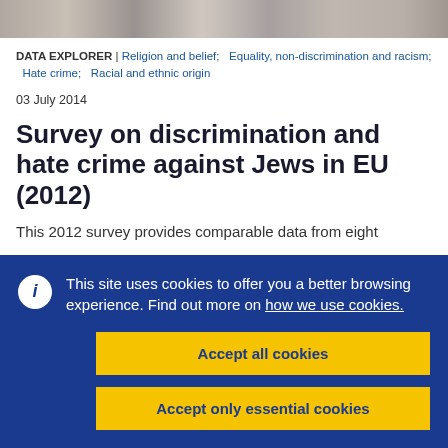[Figure (photo): Horizontal photo strip showing people, appears to be a group of individuals in black and white or muted tones]
DATA EXPLORER | Religion and belief;  Equality, non-discrimination and racism;  Hate crime;  Racial and ethnic origin
03 July 2014
Survey on discrimination and hate crime against Jews in EU (2012)
This 2012 survey provides comparable data from eight
This site uses cookies to offer you a better browsing experience. Find out more on how we use cookies.
Accept all cookies
Accept only essential cookies